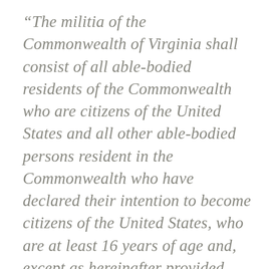“The militia of the Commonwealth of Virginia shall consist of all able-bodied residents of the Commonwealth who are citizens of the United States and all other able-bodied persons resident in the Commonwealth who have declared their intention to become citizens of the United States, who are at least 16 years of age and, except as hereinafter provided, not more than 55 years of age. The militia shall be divided into three classes: the National